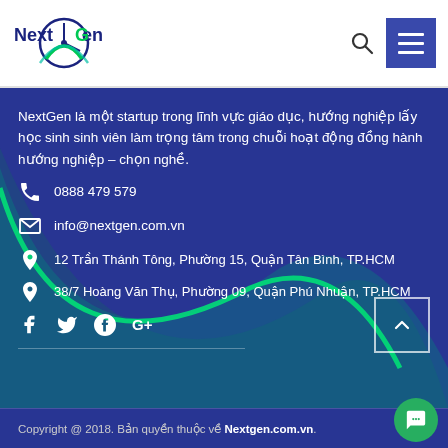[Figure (logo): NextGen logo with circular arrow and wave graphic in green and dark blue, text reads 'NextGen']
NextGen là một startup trong lĩnh vực giáo dục, hướng nghiệp lấy học sinh sinh viên làm trọng tâm trong chuỗi hoạt động đồng hành hướng nghiệp – chọn nghề.
0888 479 579
info@nextgen.com.vn
12 Trần Thánh Tông, Phường 15, Quận Tân Bình, TP.HCM
38/7 Hoàng Văn Thụ, Phường 09, Quận Phú Nhuận, TP.HCM
Copyright @ 2018. Bản quyền thuộc về Nextgen.com.vn.